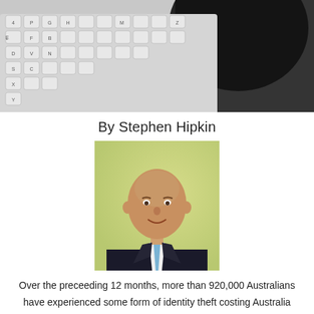[Figure (photo): Close-up black and white photo of a computer keyboard with a shadowed hand above it]
By Stephen Hipkin
[Figure (photo): Professional headshot of a bald middle-aged man in a dark suit and light blue tie, smiling, against a light yellow-green background]
Over the preceeding 12 months, more than 920,000 Australians have experienced some form of identity theft costing Australia upwards of $1.6 billion per annum, with the majority lost by individuals through credit card fraud,